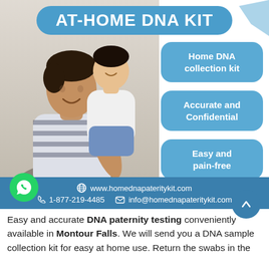AT-HOME DNA KIT
[Figure (photo): A man in a striped shirt holding and smiling at a toddler in a white shirt and jeans, both face to face]
Home DNA collection kit
Accurate and Confidential
Easy and pain-free
www.homednapateritykit.com
1-877-219-4485    info@homednapateritykit.com
Easy and accurate DNA paternity testing conveniently available in Montour Falls. We will send you a DNA sample collection kit for easy at home use. Return the swabs in the